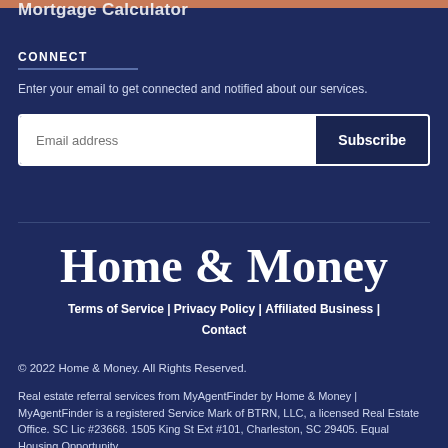Mortgage Calculator
CONNECT
Enter your email to get connected and notified about our services.
Email address | Subscribe
Home & Money
Terms of Service | Privacy Policy | Affiliated Business | Contact
© 2022 Home & Money. All Rights Reserved.
Real estate referral services from MyAgentFinder by Home & Money | MyAgentFinder is a registered Service Mark of BTRN, LLC, a licensed Real Estate Office. SC Lic #23668. 1505 King St Ext #101, Charleston, SC 29405. Equal Housing Opportunity.